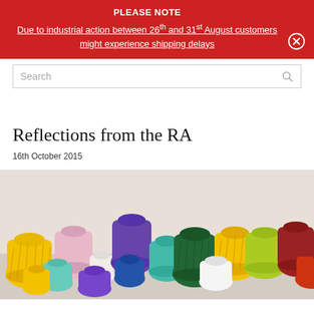PLEASE NOTE
Due to industrial action between 26th and 31st August customers might experience shipping delays
Search
Reflections from the RA
16th October 2015
[Figure (photo): Collection of colourful ceramic vases of various sizes arranged together, with colours including yellow, pink, white, green, blue, purple, red, and teal, each with painted stripe patterns.]